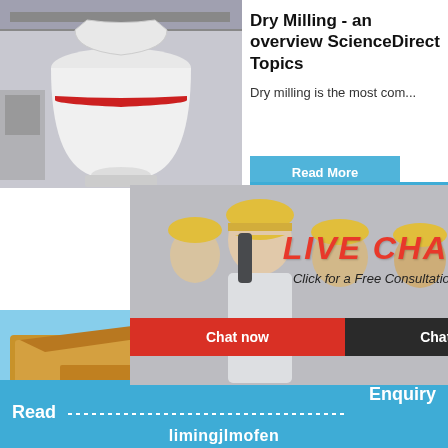[Figure (photo): Large white industrial milling machine in a factory setting]
Dry Milling - an overview ScienceDirect Topics
Dry milling is the most com...
[Figure (photo): Live chat overlay with workers wearing yellow hard hats; LIVE CHAT - Click for a Free Consultation; Chat now / Chat later buttons]
hour online
[Figure (photo): Industrial cone crusher machine on the right panel]
Click me to chat>>
[Figure (photo): Large yellow mining machine/excavator in outdoor desert setting]
milling Bristol
Versatility ...
Enquiry
Read
limingjlmofen